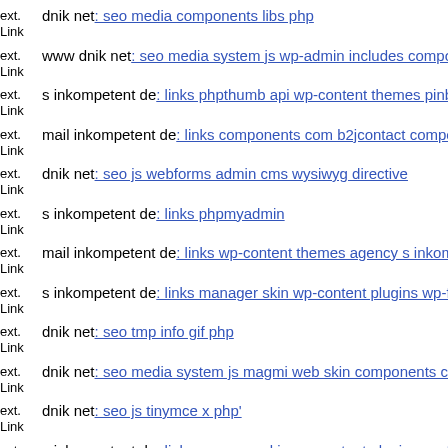ext. Link dnik net: seo media components libs php
ext. Link www dnik net: seo media system js wp-admin includes components
ext. Link s inkompetent de: links phpthumb api wp-content themes pinboard
ext. Link mail inkompetent de: links components com b2jcontact components
ext. Link dnik net: seo js webforms admin cms wysiwyg directive
ext. Link s inkompetent de: links phpmyadmin
ext. Link mail inkompetent de: links wp-content themes agency s inkompetent
ext. Link s inkompetent de: links manager skin wp-content plugins wp-file
ext. Link dnik net: seo tmp info gif php
ext. Link dnik net: seo media system js magmi web skin components
ext. Link dnik net: seo js tinymce x php'
ext. Link s inkompetent de: links manager skin wp-content plugins wp-fi